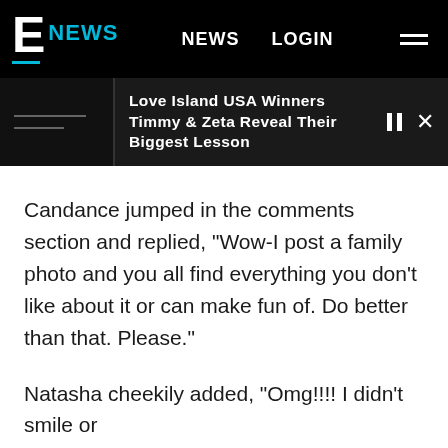E NEWS   NEWS   LOGIN
Love Island USA Winners Timmy & Zeta Reveal Their Biggest Lesson
Candance jumped in the comments section and replied, "Wow-I post a family photo and you all find everything you don't like about it or can make fun of. Do better than that. Please."
Natasha cheekily added, "Omg!!!! I didn't smile or